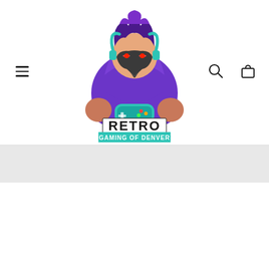Retro Gaming of Denver website header with logo, hamburger menu, search icon, and bag icon
[Figure (logo): Retro Gaming of Denver logo: cartoon character in purple hoodie wearing a bird mask and headphones, holding a game controller, with text RETRO GAMING OF DENVER in bold stylized font with teal/cyan outline]
[Figure (logo): Retro Gaming of Denver text logo (partial): RETRO GAMING OF DENVER in bold stylized font with teal/cyan outline]
Chat with us
4149 Gibraltar Street Denver CO 80219
onlineorders@retrogamingofdenver.com